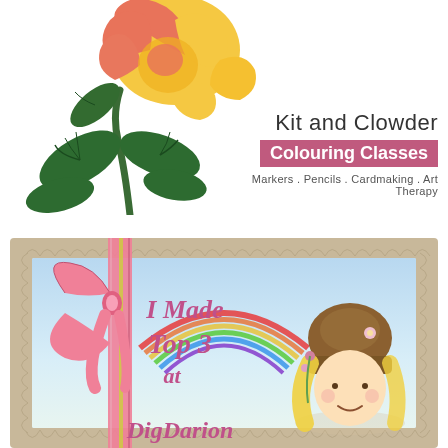[Figure (illustration): Illustrated rose with pink and yellow petals, green stem and leaves, partially cropped at top and left edges]
Kit and Clowder
Colouring Classes
Markers . Pencils . Cardmaking . Art Therapy
[Figure (illustration): Decorative badge with scalloped tan border, pink ribbon bow on left side, rainbow background, cartoon girl character on right, text reading 'I Made Top 3 at DigDarion' in pink cursive]